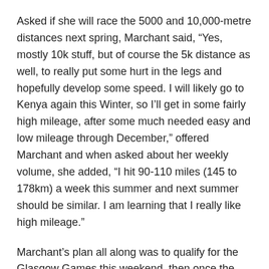Asked if she will race the 5000 and 10,000-metre distances next spring, Marchant said, “Yes, mostly 10k stuff, but of course the 5k distance as well, to really put some hurt in the legs and hopefully develop some speed. I will likely go to Kenya again this Winter, so I’ll get in some fairly high mileage, after some much needed easy and low mileage through December,” offered Marchant and when asked about her weekly volume, she added, “I hit 90-110 miles (145 to 178km) a week this summer and next summer should be similar. I am learning that I really like high mileage.”
Marchant’s plan all along was to qualify for the Glasgow Games this weekend, then once the marathon is taken care of, attempt the 10,000-metre standard. Asked if she prefers to run the 10000 metre over the marathon at Commonwealths, she said, “I favour doing any event at CW! Haha. but yes, I would like to go in the 10000. My mind may